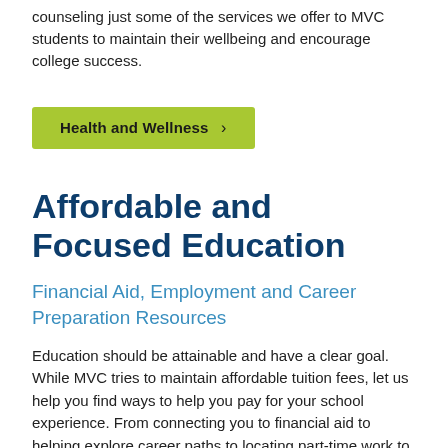counseling just some of the services we offer to MVC students to maintain their wellbeing and encourage college success.
Health and Wellness >
Affordable and Focused Education
Financial Aid, Employment and Career Preparation Resources
Education should be attainable and have a clear goal. While MVC tries to maintain affordable tuition fees, let us help you find ways to help you pay for your school experience. From connecting you to financial aid to helping explore career paths to locating part-time work to help make ends meet, our support team is ready to assist.